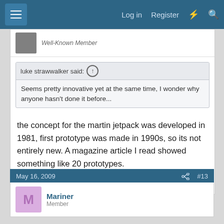Log in  Register
Well-Known Member
luke strawwalker said:
Seems pretty innovative yet at the same time, I wonder why anyone hasn't done it before...
the concept for the martin jetpack was developed in 1981, first prototype was made in 1990s, so its not entirely new. A magazine article I read showed something like 20 prototypes.
Reply
May 16, 2009  #13
Mariner
Member